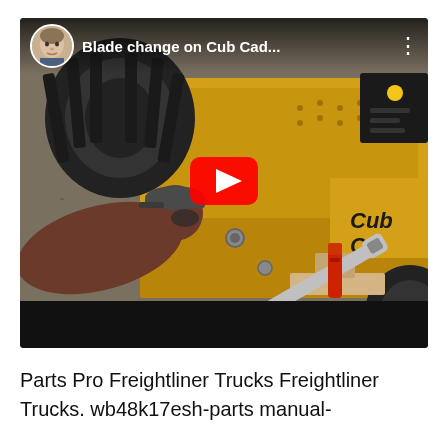[Figure (screenshot): YouTube video thumbnail showing a man lying on the ground changing the blade on a Cub Cadet riding lawn mower. A large wrench and red tool are visible. The video title bar at the top shows a circular avatar of a man and the title 'Blade change on Cub Cad...' with a three-dot menu. A red YouTube play button is centered on the image.]
Parts Pro Freightliner Trucks Freightliner Trucks. wb48k17esh-parts manual-